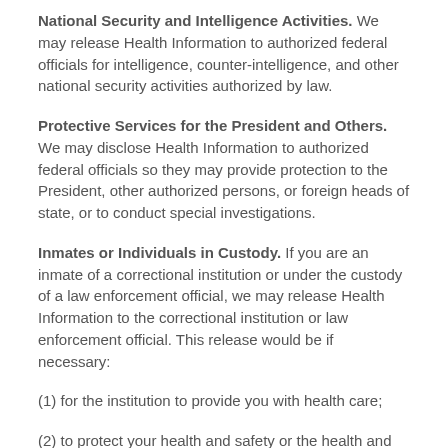National Security and Intelligence Activities. We may release Health Information to authorized federal officials for intelligence, counter-intelligence, and other national security activities authorized by law.
Protective Services for the President and Others. We may disclose Health Information to authorized federal officials so they may provide protection to the President, other authorized persons, or foreign heads of state, or to conduct special investigations.
Inmates or Individuals in Custody. If you are an inmate of a correctional institution or under the custody of a law enforcement official, we may release Health Information to the correctional institution or law enforcement official. This release would be if necessary:
(1) for the institution to provide you with health care;
(2) to protect your health and safety or the health and safety of